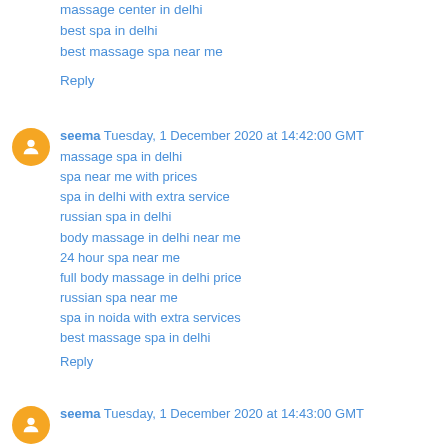massage center in delhi
best spa in delhi
best massage spa near me
Reply
seema Tuesday, 1 December 2020 at 14:42:00 GMT
massage spa in delhi
spa near me with prices
spa in delhi with extra service
russian spa in delhi
body massage in delhi near me
24 hour spa near me
full body massage in delhi price
russian spa near me
spa in noida with extra services
best massage spa in delhi
Reply
seema Tuesday, 1 December 2020 at 14:43:00 GMT